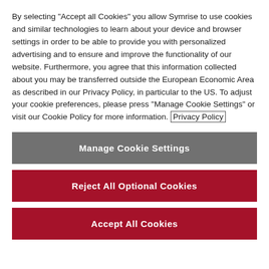By selecting "Accept all Cookies" you allow Symrise to use cookies and similar technologies to learn about your device and browser settings in order to be able to provide you with personalized advertising and to ensure and improve the functionality of our website. Furthermore, you agree that this information collected about you may be transferred outside the European Economic Area as described in our Privacy Policy, in particular to the US. To adjust your cookie preferences, please press "Manage Cookie Settings" or visit our Cookie Policy for more information. Privacy Policy
Manage Cookie Settings
Reject All Optional Cookies
Accept All Cookies
Chesapeake StarChefs Rising Stars
With its contrast between cozy, walkable neighborhoods and